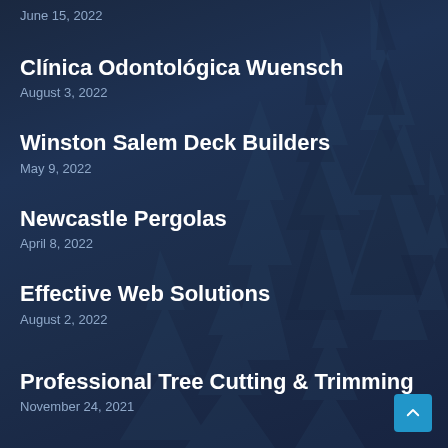June 15, 2022
Clínica Odontológica Wuensch
August 3, 2022
Winston Salem Deck Builders
May 9, 2022
Newcastle Pergolas
April 8, 2022
Effective Web Solutions
August 2, 2022
Professional Tree Cutting & Trimming
November 24, 2021